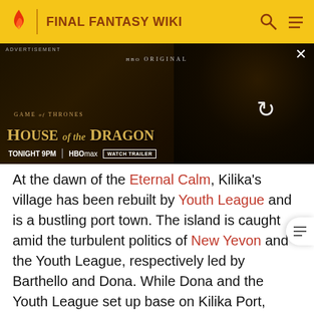FINAL FANTASY WIKI
[Figure (screenshot): HBO Max advertisement for House of the Dragon - Game of Thrones spin-off. Shows dragon background imagery with text 'GAME OF THRONES HOUSE OF THE DRAGON TONIGHT 9PM | HBO MAX | WATCH TRAILER']
At the dawn of the Eternal Calm, Kilika's village has been rebuilt by Youth League and is a bustling port town. The island is caught amid the turbulent politics of New Yevon and the Youth League, respectively led by Barthello and Dona. While Dona and the Youth League set up base on Kilika Port, Barthello and the New Yevonites take refuge in Kilika Temple.
The Gullwings learn of the Awesome Sphere so they enter the temple via the woods to take it. After the